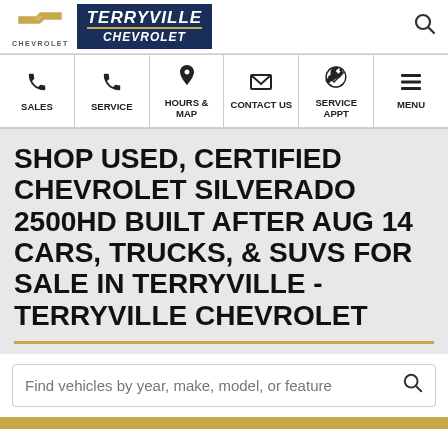[Figure (logo): Chevrolet bowtie logo and Terryville Chevrolet dealership logo in navy blue with gold accent]
[Figure (infographic): Navigation bar with icons for Sales, Service, Hours & Map, Contact Us, Service Appt, Menu]
SHOP USED, CERTIFIED CHEVROLET SILVERADO 2500HD BUILT AFTER AUG 14 CARS, TRUCKS, & SUVS FOR SALE IN TERRYVILLE - TERRYVILLE CHEVROLET
Find vehicles by year, make, model, or feature